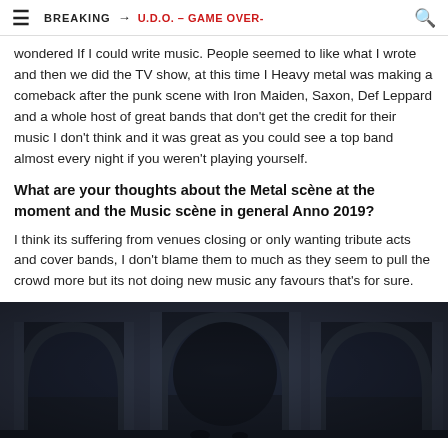BREAKING → U.D.O. – GAME OVER-
wondered If I could write music. People seemed to like what I wrote and then we did the TV show, at this time I Heavy metal was making a comeback after the punk scene with Iron Maiden, Saxon, Def Leppard and a whole host of great bands that don't get the credit for their music I don't think and it was great as you could see a top band almost every night if you weren't playing yourself.
What are your thoughts about the Metal scène at the moment and the Music scène in general Anno 2019?
I think its suffering from venues closing or only wanting tribute acts and cover bands, I don't blame them to much as they seem to pull the crowd more but its not doing new music any favours that's for sure.
[Figure (photo): Black and white photo of ancient stone arches, three visible archways in a ruined structure]